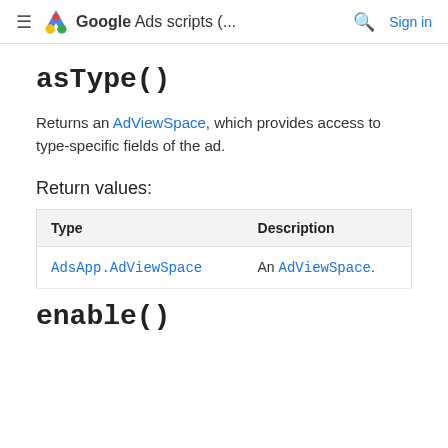Google Ads scripts (... Sign in
asType()
Returns an AdViewSpace, which provides access to type-specific fields of the ad.
Return values:
| Type | Description |
| --- | --- |
| AdsApp.AdViewSpace | An AdViewSpace. |
enable()